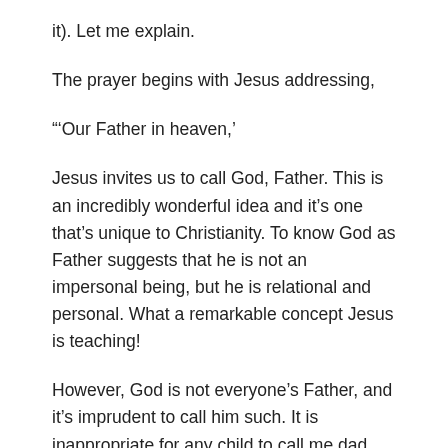it). Let me explain.
The prayer begins with Jesus addressing,
“‘Our Father in heaven,’
Jesus invites us to call God, Father. This is an incredibly wonderful idea and it’s one that’s unique to Christianity. To know God as Father suggests that he is not an impersonal being, but he is relational and personal. What a remarkable concept Jesus is teaching!
However, God is not everyone’s Father, and it’s imprudent to call him such. It is inappropriate for any child to call me dad, only my children can do that. Similarly, only God’s children can truly address him as Father. It is exclusive and yet it is also wonderfully